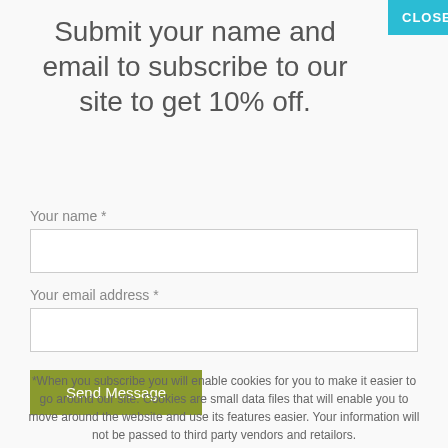Submit your name and email to subscribe to our site to get 10% off.
Your name *
Your email address *
Send Message
*When you subscribe you will enable cookies for you to make it easier to go around our site. Cookies are small data files that will enable you to move around the website and use its features easier. Your information will not be passed to third party vendors and retailors.